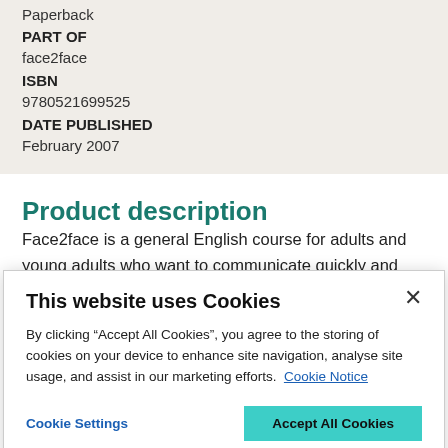Paperback
PART OF
face2face
ISBN
9780521699525
DATE PUBLISHED
February 2007
Product description
Face2face is a general English course for adults and young adults who want to communicate quickly and effectively in today's world.
This website uses Cookies
By clicking “Accept All Cookies”, you agree to the storing of cookies on your device to enhance site navigation, analyse site usage, and assist in our marketing efforts. Cookie Notice
Cookie Settings   Accept All Cookies